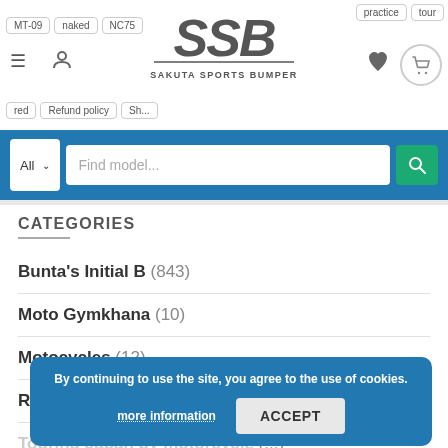[Figure (logo): SSB Sakuta Sports Bumper logo with stylized SSB lettering]
All ∨   Find model...
CATEGORIES
Bunta's Initial B (843)
Moto Gymkhana (10)
Motocycles (12)
Riding (9)
Touring Japan by motorcycle (...)
Tournament Video Archive (2)
Uncategorised (2)
By continuing to use the site, you agree to the use of cookies.
more information
ACCEPT